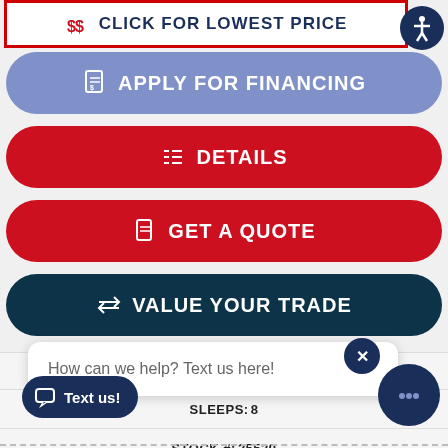[Figure (screenshot): Dealership website UI with buttons: Click for Lowest Price, Apply for Financing, Details, Get a Quote, Value Your Trade, and a chat popup saying 'How can we help? Text us here!' with Text us button and chat icon, plus SLEEPS:8 and STOCK #:25529 info rows.]